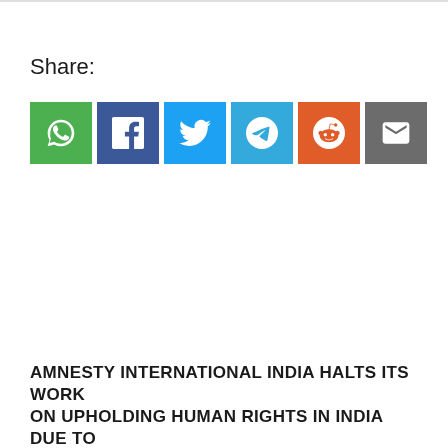Share:
[Figure (infographic): Six social share buttons: WhatsApp (green), Facebook (dark blue), Twitter (blue), Telegram (teal/blue), Reddit (orange), Email (gray)]
AMNESTY INTERNATIONAL INDIA HALTS ITS WORK ON UPHOLDING HUMAN RIGHTS IN INDIA DUE TO